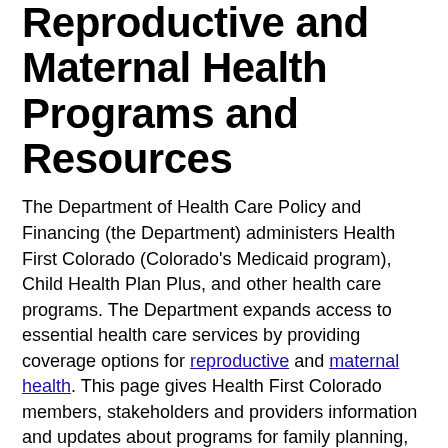Reproductive and Maternal Health Programs and Resources
The Department of Health Care Policy and Financing (the Department) administers Health First Colorado (Colorado's Medicaid program), Child Health Plan Plus, and other health care programs. The Department expands access to essential health care services by providing coverage options for reproductive and maternal health. This page gives Health First Colorado members, stakeholders and providers information and updates about programs for family planning, pregnancy and much more. Send feedback and questions to hcpf_MaternalChildHealth@state.co.us.
Reproductive Health